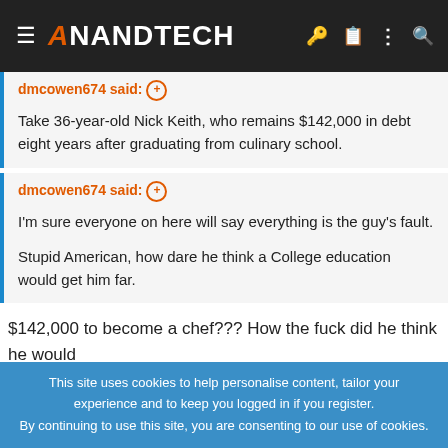AnandTech
dmcowen674 said:
Take 36-year-old Nick Keith, who remains $142,000 in debt eight years after graduating from culinary school.
dmcowen674 said:
I'm sure everyone on here will say everything is the guy's fault.

Stupid American, how dare he think a College education would get him far.
$142,000 to become a chef??? How the fuck did he think he would
This site uses cookies to help personalise content, tailor your experience and to keep you logged in if you register.
By continuing to use this site, you are consenting to our use of cookies.